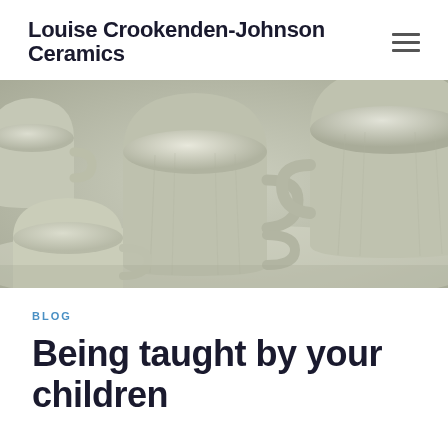Louise Crookenden-Johnson Ceramics
[Figure (photo): Close-up photograph of multiple unfired ceramic mugs with handles, in various sizes, arranged on a flat surface. The mugs are a pale grey-green clay color, showing hand-thrown texture.]
BLOG
Being taught by your children